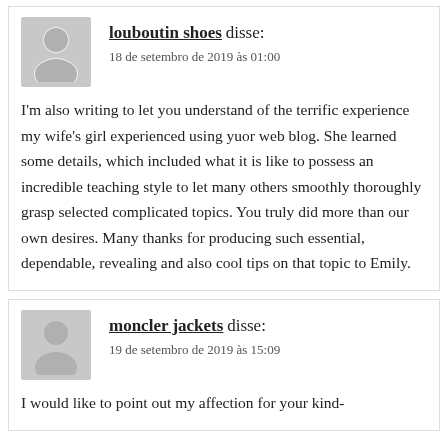louboutin shoes disse:
18 de setembro de 2019 às 01:00
I'm also writing to let you understand of the terrific experience my wife's girl experienced using yuor web blog. She learned some details, which included what it is like to possess an incredible teaching style to let many others smoothly thoroughly grasp selected complicated topics. You truly did more than our own desires. Many thanks for producing such essential, dependable, revealing and also cool tips on that topic to Emily.
moncler jackets disse:
19 de setembro de 2019 às 15:09
I would like to point out my affection for your kind-